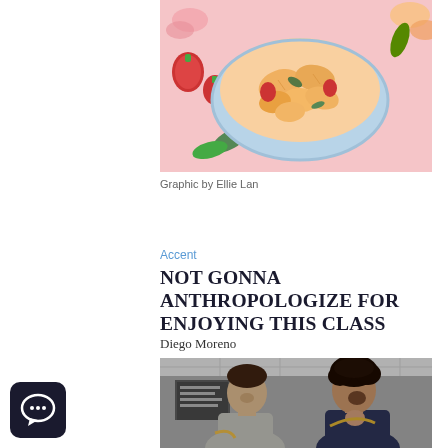[Figure (illustration): Illustrated graphic of a bowl of food (pasta or fruit salad) with strawberries and flowers on a pink background, by Ellie Lan]
Graphic by Ellie Lan
Accent
NOT GONNA ANTHROPOLOGIZE FOR ENJOYING THIS CLASS
Diego Moreno
[Figure (photo): Two students looking up with surprise or awe while holding what appears to be a jaw bone or curved object, in a classroom setting]
[Figure (other): Chat/comment icon in bottom-left corner]